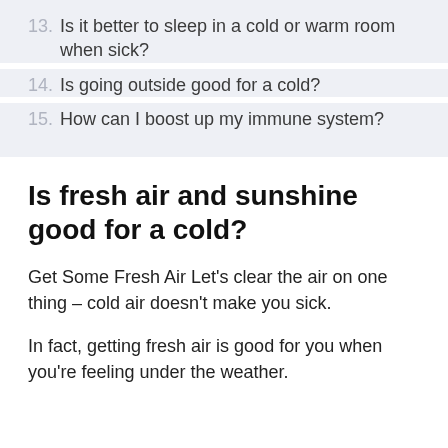13. Is it better to sleep in a cold or warm room when sick?
14. Is going outside good for a cold?
15. How can I boost up my immune system?
Is fresh air and sunshine good for a cold?
Get Some Fresh Air Let’s clear the air on one thing – cold air doesn’t make you sick.
In fact, getting fresh air is good for you when you’re feeling under the weather.